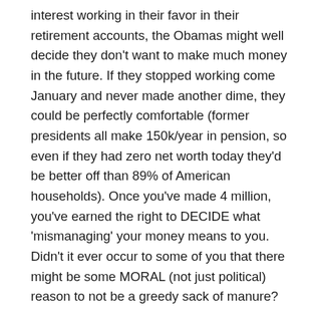interest working in their favor in their retirement accounts, the Obamas might well decide they don't want to make much money in the future. If they stopped working come January and never made another dime, they could be perfectly comfortable (former presidents all make 150k/year in pension, so even if they had zero net worth today they'd be better off than 89% of American households). Once you've made 4 million, you've earned the right to DECIDE what 'mismanaging' your money means to you. Didn't it ever occur to some of you that there might be some MORAL (not just political) reason to not be a greedy sack of manure?